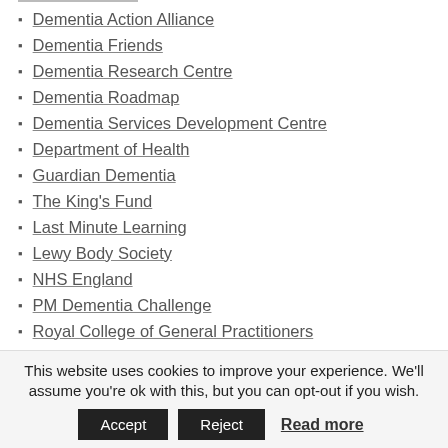Dementia Action Alliance
Dementia Friends
Dementia Research Centre
Dementia Roadmap
Dementia Services Development Centre
Department of Health
Guardian Dementia
The King's Fund
Last Minute Learning
Lewy Body Society
NHS England
PM Dementia Challenge
Royal College of General Practitioners
Royal College of Nursing
Royal College of Psychiatrists
This website uses cookies to improve your experience. We'll assume you're ok with this, but you can opt-out if you wish. Accept Reject Read more